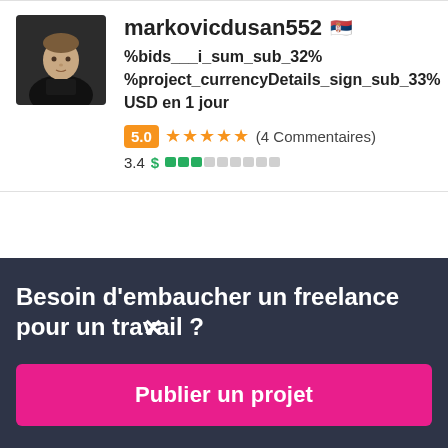[Figure (photo): Profile photo of markovicdusan552, a young man in a black shirt against a dark background]
markovicdusan552 🇷🇸
%bids___i_sum_sub_32% %project_currencyDetails_sign_sub_33% USD en 1 jour
5.0 ★★★★★ (4 Commentaires)
3.4 $ ▮▮▮░░░░░░░
Besoin d'embaucher un freelance pour un travail ?
Publier un projet